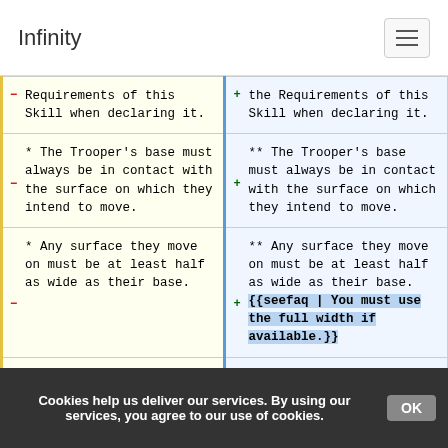Infinity
| Original | Modified |
| --- | --- |
| Requirements of this Skill when declaring it. | the Requirements of this Skill when declaring it. |
| * The Trooper's base must always be in contact with the surface on which they intend to move. | ** The Trooper's base must always be in contact with the surface on which they intend to move. |
| * Any surface they move on must be at least half as wide as their base. | ** Any surface they move on must be at least half as wide as their base. {{seefaq | You must use the full width if available.}} |
| * The Trooper must be ... | ** The Trooper must be ... |
Cookies help us deliver our services. By using our services, you agree to our use of cookies. OK